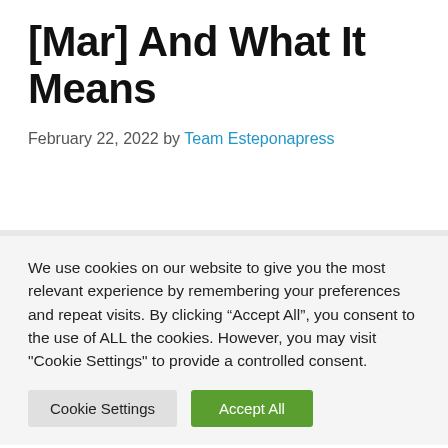[Mar] And What It Means
February 22, 2022 by Team Esteponapress
We use cookies on our website to give you the most relevant experience by remembering your preferences and repeat visits. By clicking “Accept All”, you consent to the use of ALL the cookies. However, you may visit "Cookie Settings" to provide a controlled consent.